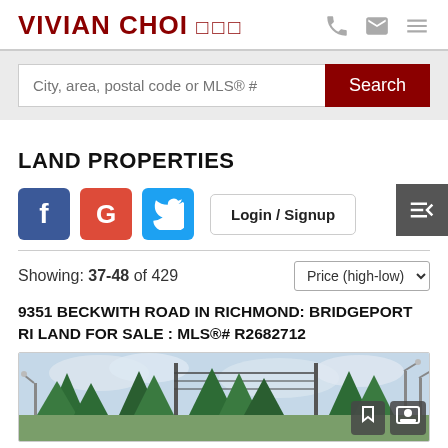VIVIAN CHOI □□□
City, area, postal code or MLS® #
LAND PROPERTIES
Login / Signup
Showing: 37-48 of 429
9351 BECKWITH ROAD IN RICHMOND: BRIDGEPORT RI LAND FOR SALE : MLS®# R2682712
[Figure (photo): Outdoor property photo showing trees, power lines, and street lamps under a cloudy sky]